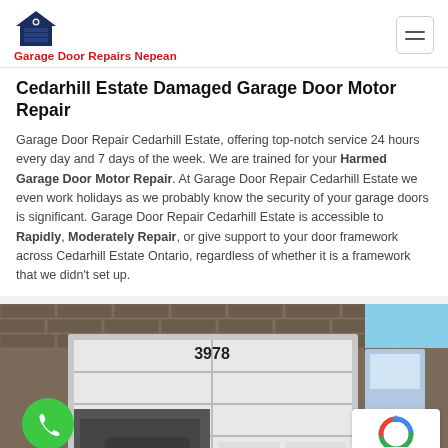Garage Door Repairs Nepean
Cedarhill Estate Damaged Garage Door Motor Repair
Garage Door Repair Cedarhill Estate, offering top-notch service 24 hours every day and 7 days of the week. We are trained for your Harmed Garage Door Motor Repair. At Garage Door Repair Cedarhill Estate we even work holidays as we probably know the security of your garage doors is significant. Garage Door Repair Cedarhill Estate is accessible to Rapidly, Moderately Repair, or give support to your door framework across Cedarhill Estate Ontario, regardless of whether it is a framework that we didn’t set up.
[Figure (photo): Photo of a garage door partially open at a residential property, showing a white sectional garage door at address 3978, with a green phone/call button icon overlay in the bottom left and a reCAPTCHA badge in the bottom right corner.]